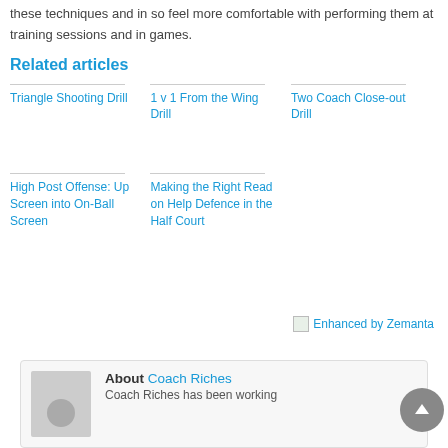these techniques and in so feel more comfortable with performing them at training sessions and in games.
Related articles
Triangle Shooting Drill
1 v 1 From the Wing Drill
Two Coach Close-out Drill
High Post Offense: Up Screen into On-Ball Screen
Making the Right Read on Help Defence in the Half Court
[Figure (illustration): Enhanced by Zemanta logo/badge with small image icon]
About Coach Riches
Coach Riches has been working